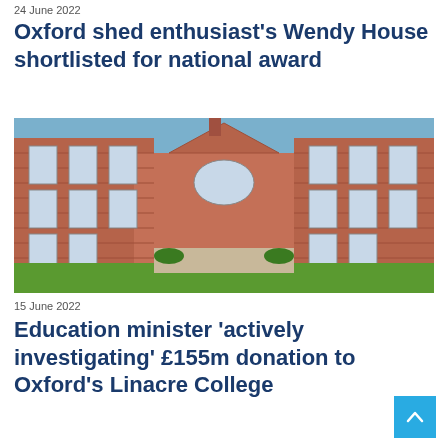24 June 2022
Oxford shed enthusiast’s Wendy House shortlisted for national award
[Figure (photo): Photograph of a red-brick Oxford college building courtyard with manicured lawn and blue sky]
15 June 2022
Education minister ‘actively investigating’ £155m donation to Oxford’s Linacre College